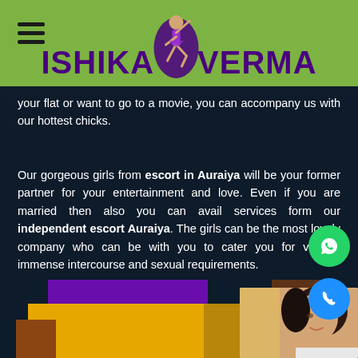ISHIKA VERMA
your flat or want to go to a movie, you can accompany us with our hottest chicks.
Our gorgeous girls from escort in Auraiya will be your former partner for your entertainment and love. Even if you are married then also you can avail services form our independent escort Auraiya. The girls can be the most lovely company who can be with you to cater you for various immense intercourse and sexual requirements.
[Figure (photo): Bottom section showing colored rectangular overlapping blocks in purple, yellow, brown tones with a photo of a woman smiling]
[Figure (illustration): WhatsApp circular green button icon]
[Figure (illustration): Phone circular blue button icon]